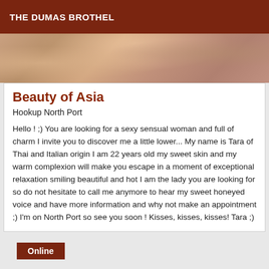THE DUMAS BROTHEL
[Figure (photo): A warm-toned close-up photo strip showing blurred skin tones and light bokeh effects in amber and rose hues]
Beauty of Asia
Hookup North Port
Hello ! ;) You are looking for a sexy sensual woman and full of charm I invite you to discover me a little lower... My name is Tara of Thai and Italian origin I am 22 years old my sweet skin and my warm complexion will make you escape in a moment of exceptional relaxation smiling beautiful and hot I am the lady you are looking for so do not hesitate to call me anymore to hear my sweet honeyed voice and have more information and why not make an appointment ;) I'm on North Port so see you soon ! Kisses, kisses, kisses! Tara ;)
Online